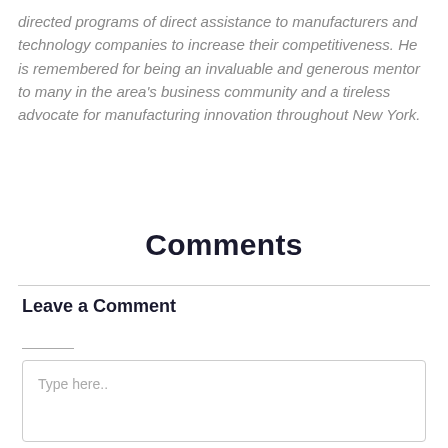directed programs of direct assistance to manufacturers and technology companies to increase their competitiveness. He is remembered for being an invaluable and generous mentor to many in the area's business community and a tireless advocate for manufacturing innovation throughout New York.
Comments
Leave a Comment
Type here..